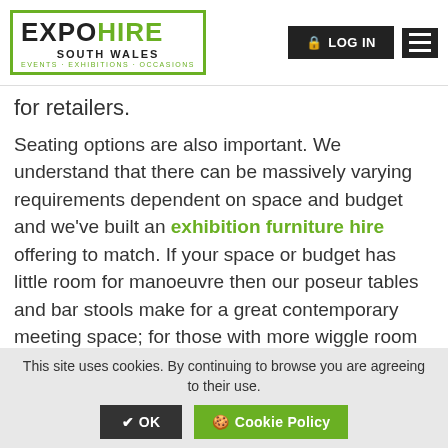EXPO HIRE SOUTH WALES — EVENTS · EXHIBITIONS · OCCASIONS | LOG IN | menu
for retailers.
Seating options are also important. We understand that there can be massively varying requirements dependent on space and budget and we've built an exhibition furniture hire offering to match. If your space or budget has little room for manoeuvre then our poseur tables and bar stools make for a great contemporary meeting space; for those with more wiggle room then we have everything up to Chesterfield sofas in bright colours to match your stand aesthetic.
GAZEBO HIRE IN CARDIFF
This site uses cookies. By continuing to browse you are agreeing to their use. ✔ OK  🍪 Cookie Policy